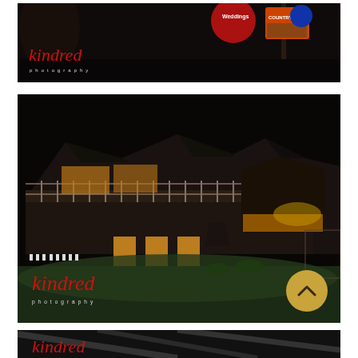[Figure (photo): Night photograph of outdoor signs including a Weddings sign, lit against dark sky, with Kindred Photography logo watermark in bottom left]
[Figure (photo): Night photograph of a rustic lodge/venue building with warm lights glowing, wooden deck and railing, gazebo area on right, green lawn in foreground with white chairs set for a wedding ceremony. Kindred Photography logo watermark in bottom left.]
[Figure (photo): Partial black and white night photograph of interior rafters/beams of a rustic building with Kindred text watermark visible at bottom left. Scroll-up button in bottom right corner.]